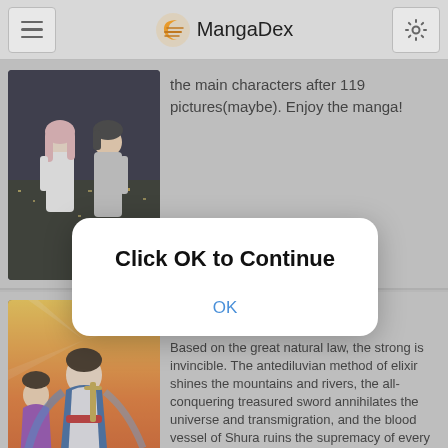MangaDex
[Figure (screenshot): Manga thumbnail showing two characters standing back to back against a night cityscape]
the main characters after 119 pictures(maybe). Enjoy the manga!
[Figure (illustration): Manga cover for 'Marvelous Hero of the Sword' showing fantasy characters with colorful robes and weapons]
3.96  7.34  10,672,853
Based on the great natural law, the strong is invincible. The antediluvian method of elixir shines the mountains and rivers, the all-conquering treasured sword annihilates the universe and transmigration, and the blood vessel of Shura ruins the supremacy of every realm. Inheriting from the mandate of heaven, and practicing unrivaled skills, Nan Qin overwhelmingly started his
[Figure (screenshot): Modal dialog popup with text 'Click OK to Continue' and an OK button]
Click OK to Continue
OK